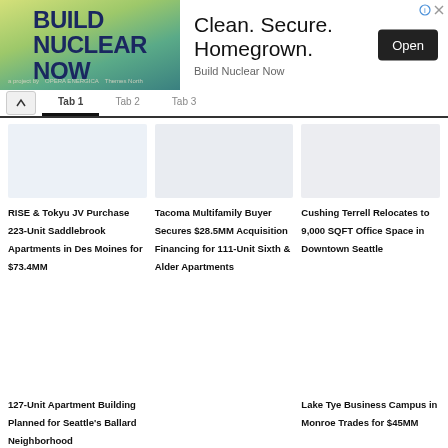[Figure (other): Advertisement banner for Build Nuclear Now. Left side has green/teal gradient background with bold navy text 'BUILD NUCLEAR NOW'. Right side white with text 'Clean. Secure. Homegrown.' and 'Build Nuclear Now' subtitle and black 'Open' button.]
[Figure (photo): Faded/washed out photo of apartment building exterior]
RISE & Tokyu JV Purchase 223-Unit Saddlebrook Apartments in Des Moines for $73.4MM
[Figure (photo): Faded/washed out photo of multifamily building exterior]
Tacoma Multifamily Buyer Secures $28.5MM Acquisition Financing for 111-Unit Sixth & Alder Apartments
[Figure (photo): Faded/washed out photo of office building exterior]
Cushing Terrell Relocates to 9,000 SQFT Office Space in Downtown Seattle
127-Unit Apartment Building Planned for Seattle's Ballard Neighborhood
Lake Tye Business Campus in Monroe Trades for $45MM